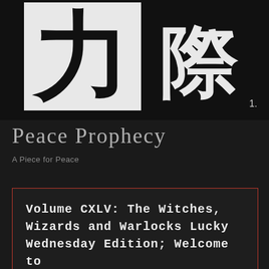[Figure (illustration): Black and white image with Chinese/Japanese kanji characters on a checkerboard-like background. Large bold black characters on white and white characters on black sections. Number '1.' visible in bottom right corner.]
Peace Prophecy
A Piece for Peace
Volume CXLV: The Witches, Wizards and Warlocks Lucky Wednesday Edition; Welcome to the Apocalypse
13 JAN 2021
ADD A COMMENT